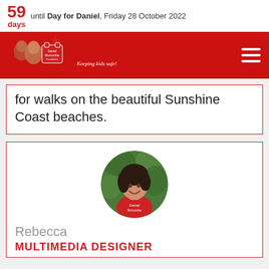59 days until Day for Daniel, Friday 28 October 2022
[Figure (photo): Daniel Morcombe Foundation red banner with logo, t-shirt graphic, 'Keeping kids safe!' tagline, and hamburger menu icon]
for walks on the beautiful Sunshine Coast beaches.
[Figure (photo): Circular portrait photo of Rebecca, a woman with dark hair wearing a red Daniel Morcombe Foundation t-shirt, smiling, with green foliage background]
Rebecca
MULTIMEDIA DESIGNER